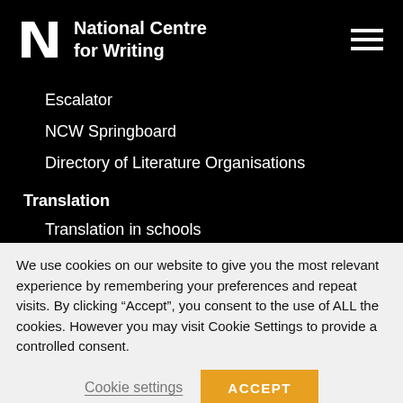[Figure (logo): National Centre for Writing logo with stylized N and text]
Escalator
NCW Springboard
Directory of Literature Organisations
Translation
Translation in schools
Translation residencies
British Centre for Literary Translation
We use cookies on our website to give you the most relevant experience by remembering your preferences and repeat visits. By clicking “Accept”, you consent to the use of ALL the cookies. However you may visit Cookie Settings to provide a controlled consent.
Cookie settings | ACCEPT